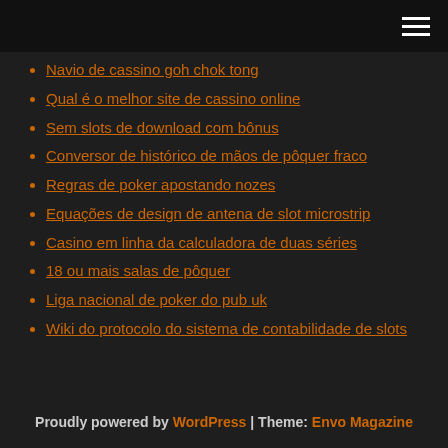[hamburger menu icon]
Navio de cassino goh chok tong
Qual é o melhor site de cassino online
Sem slots de download com bônus
Conversor de histórico de mãos de pôquer fraco
Regras de poker apostando nozes
Equações de design de antena de slot microstrip
Casino em linha da calculadora de duas séries
18 ou mais salas de pôquer
Liga nacional de poker do pub uk
Wiki do protocolo do sistema de contabilidade de slots
Proudly powered by WordPress | Theme: Envo Magazine